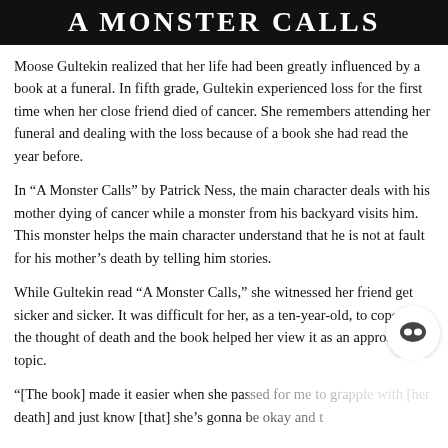A Monster Calls
Moose Gultekin realized that her life had been greatly influenced by a book at a funeral. In fifth grade, Gultekin experienced loss for the first time when her close friend died of cancer. She remembers attending her funeral and dealing with the loss because of a book she had read the year before.
In “A Monster Calls” by Patrick Ness, the main character deals with his mother dying of cancer while a monster from his backyard visits him. This monster helps the main character understand that he is not at fault for his mother’s death by telling him stories.
While Gultekin read “A Monster Calls,” she witnessed her friend get sicker and sicker. It was difficult for her, as a ten-year-old, to cope with the thought of death and the book helped her view it as an approachable topic.
“[The book] made it easier when she passed for me to grapple with [her death] and just know [that] she’s gonna be okay and t…